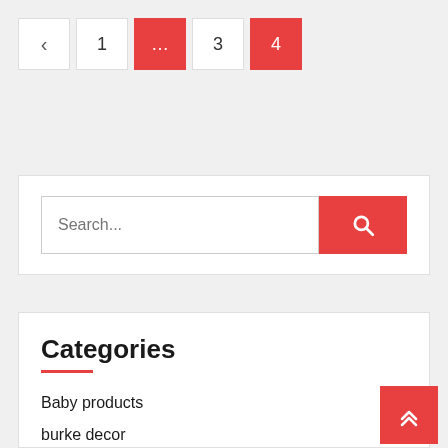‹ 1 ... 3 4 (pagination controls)
Search...
Categories
Baby products
burke decor
Business and Management